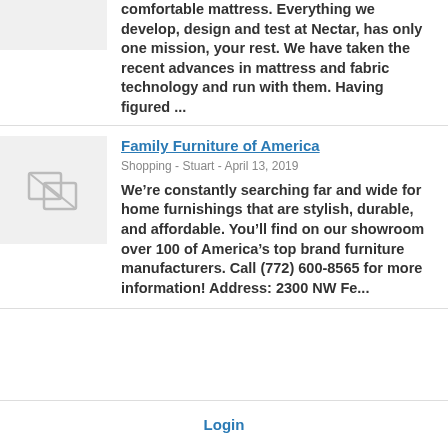comfortable mattress. Everything we develop, design and test at Nectar, has only one mission, your rest. We have taken the recent advances in mattress and fabric technology and run with them. Having figured ...
Family Furniture of America
Shopping - Stuart - April 13, 2019
We're constantly searching far and wide for home furnishings that are stylish, durable, and affordable. You'll find on our showroom over 100 of America's top brand furniture manufacturers. Call (772) 600-8565 for more information! Address: 2300 NW Fe...
Login